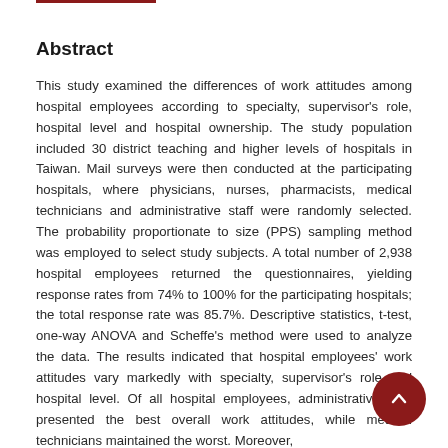Abstract
This study examined the differences of work attitudes among hospital employees according to specialty, supervisor's role, hospital level and hospital ownership. The study population included 30 district teaching and higher levels of hospitals in Taiwan. Mail surveys were then conducted at the participating hospitals, where physicians, nurses, pharmacists, medical technicians and administrative staff were randomly selected. The probability proportionate to size (PPS) sampling method was employed to select study subjects. A total number of 2,938 hospital employees returned the questionnaires, yielding response rates from 74% to 100% for the participating hospitals; the total response rate was 85.7%. Descriptive statistics, t-test, one-way ANOVA and Scheffe's method were used to analyze the data. The results indicated that hospital employees' work attitudes vary markedly with specialty, supervisor's role and hospital level. Of all hospital employees, administrative staff presented the best overall work attitudes, while medical technicians maintained the worst. Moreover,